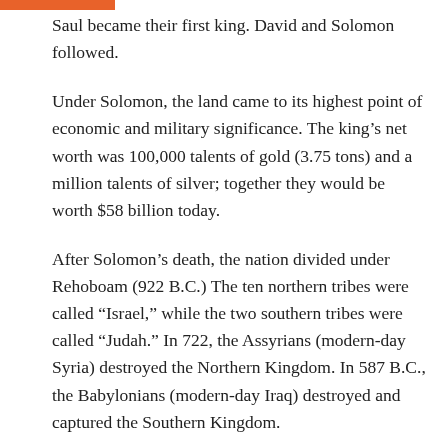Saul became their first king. David and Solomon followed.
Under Solomon, the land came to its highest point of economic and military significance. The king’s net worth was 100,000 talents of gold (3.75 tons) and a million talents of silver; together they would be worth $58 billion today.
After Solomon’s death, the nation divided under Rehoboam (922 B.C.) The ten northern tribes were called “Israel,” while the two southern tribes were called “Judah.” In 722, the Assyrians (modern-day Syria) destroyed the Northern Kingdom. In 587 B.C., the Babylonians (modern-day Iraq) destroyed and captured the Southern Kingdom.
In 538 B.C., the Persians (modern-day Iran) overthrew the Babylonians and allowed the Jews to return to their homeland, setting the stage for our study.